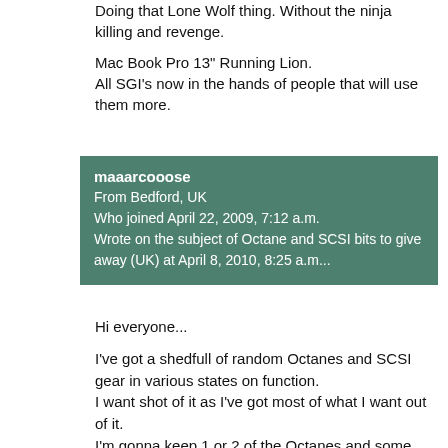Doing that Lone Wolf thing. Without the ninja killing and revenge.

Mac Book Pro 13" Running Lion.
All SGI's now in the hands of people that will use them more.
maaarcooose
From Bedford, UK
Who joined April 22, 2009, 7:12 a.m.
Wrote on the subject of Octane and SCSI bits to give away (UK) at April 8, 2010, 8:25 a.m...
Hi everyone...

I've got a shedfull of random Octanes and SCSI gear in various states on function.
I want shot of it as I've got most of what I want out of it.
I'm gonna keep 1 or 2 of the Octanes and some bits, but the rest need to go.
If anyone in the UK wants to come down and have most of it, feel free.